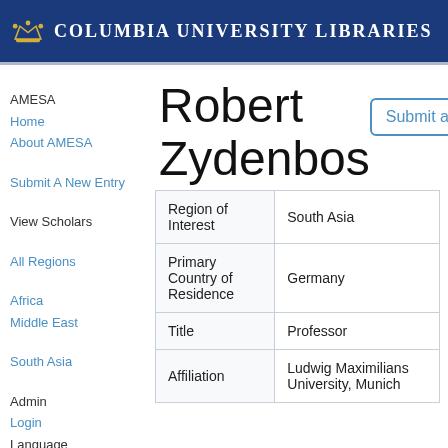Columbia University Libraries
AMESA
Home
About AMESA
Submit A New Entry
View Scholars
All Regions
Africa
Middle East
South Asia
Admin
Login
Language
Robert Zydenbos
| Field | Value |
| --- | --- |
| Region of Interest | South Asia |
| Primary Country of Residence | Germany |
| Title | Professor |
| Affiliation | Ludwig Maximilians University, Munich |